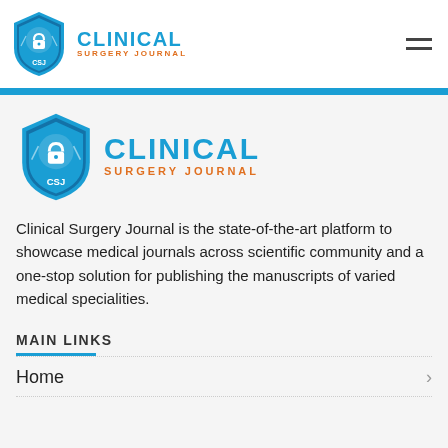Clinical Surgery Journal — header logo and navigation
[Figure (logo): Clinical Surgery Journal logo (shield with open-access lock icon) in header]
[Figure (logo): Clinical Surgery Journal logo (shield with open-access lock icon) in main content area]
Clinical Surgery Journal is the state-of-the-art platform to showcase medical journals across scientific community and a one-stop solution for publishing the manuscripts of varied medical specialities.
MAIN LINKS
Home